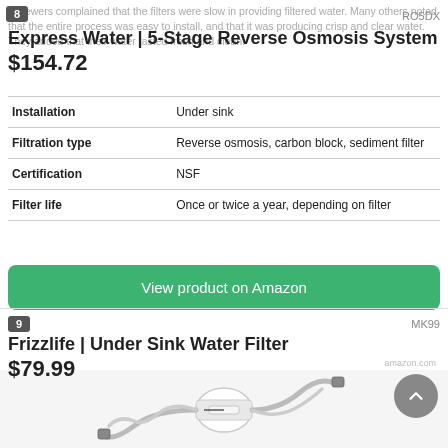reviewers complained that the filters were slow in providing filtered water. Many others noted that the entire process was easy to install, and that it was producing crisp and clear water. They added that their water tasted fresh and clean.
8   RO5DX
Express Water | 5-Stage Reverse Osmosis System
$154.72
|  |  |
| --- | --- |
| Installation | Under sink |
| Filtration type | Reverse osmosis, carbon block, sediment filter |
| Certification | NSF |
| Filter life | Once or twice a year, depending on filter |
View product on Amazon
9   MK99
Frizzlife | Under Sink Water Filter
$79.99
[Figure (photo): Product photo of Frizzlife Under Sink Water Filter showing filter unit with hoses/tubes]
amazon.com